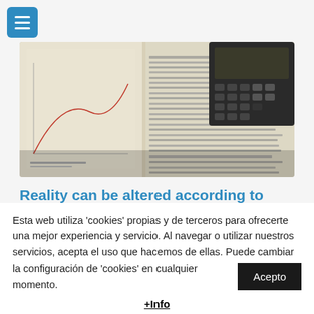[Figure (photo): Open textbook with handwritten notes and a dark calculator resting on top, photographed from above]
Reality can be altered according to quantum physics
The phenomenon of quantum entanglement is fascinating. When
Esta web utiliza 'cookies' propias y de terceros para ofrecerte una mejor experiencia y servicio. Al navegar o utilizar nuestros servicios, acepta el uso que hacemos de ellas. Puede cambiar la configuración de 'cookies' en cualquier momento. Acepto
+Info